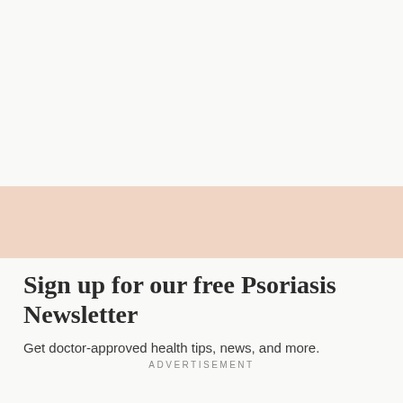[Figure (other): Peach/salmon colored horizontal banner bar]
Sign up for our free Psoriasis Newsletter
Get doctor-approved health tips, news, and more.
ADVERTISEMENT